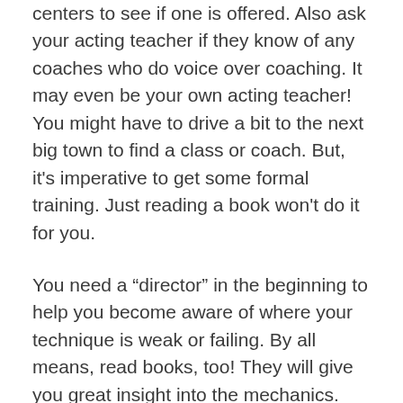centers to see if one is offered. Also ask your acting teacher if they know of any coaches who do voice over coaching. It may even be your own acting teacher! You might have to drive a bit to the next big town to find a class or coach. But, it's imperative to get some formal training. Just reading a book won't do it for you.
You need a “director” in the beginning to help you become aware of where your technique is weak or failing. By all means, read books, too! They will give you great insight into the mechanics. But, it all comes down to those sound vibrations and how they land on the listener’s ear.
In addition to your voice over class, start practicing at home. Listen to any and every commercial on